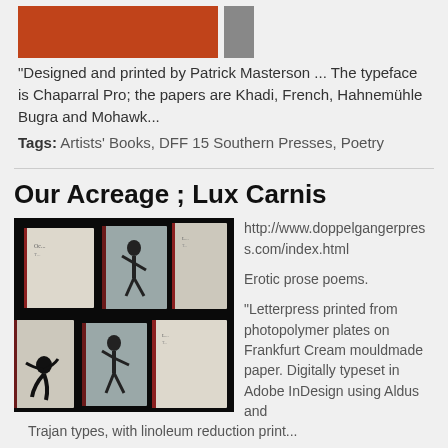[Figure (photo): Orange textured book cover and small gray rectangle]
"Designed and printed by Patrick Masterson ... The typeface is Chaparral Pro; the papers are Khadi, French, Hahnemühle Bugra and Mohawk...
Tags: Artists' Books, DFF 15 Southern Presses, Poetry
Our Acreage ; Lux Carnis
[Figure (photo): Two photographs of open books with figure illustrations on gray covers, against dark background]
http://www.doppelgangerpress.com/index.html
Erotic prose poems.
"Letterpress printed from photopolymer plates on Frankfurt Cream mouldmade paper. Digitally typeset in Adobe InDesign using Aldus and Trajan types, with linoleum reduction print...